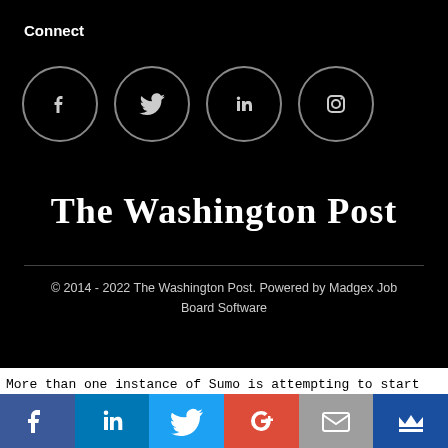Connect
[Figure (illustration): Four social media icon circles: Facebook (f), Twitter (bird), LinkedIn (in), Instagram (camera)]
The Washington Post
© 2014 - 2022 The Washington Post. Powered by Madgex Job Board Software
More than one instance of Sumo is attempting to start on this page. Please check that you are only loading Sumo once per page.
[Figure (illustration): Bottom social share bar with six colored buttons: Facebook (dark blue), LinkedIn (blue), Twitter (light blue), Google+ (red), Email (grey), Crown/King (dark blue)]